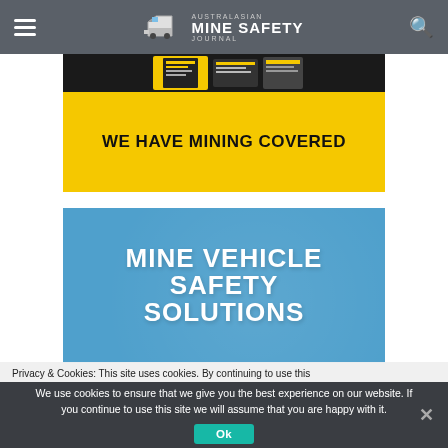Australasian Mine Safety Journal
[Figure (screenshot): Yellow advertisement banner with book image at top and bold text 'WE HAVE MINING COVERED' on yellow background]
[Figure (screenshot): Blue advertisement banner with large bold white text 'MINE VEHICLE SAFETY SOLUTIONS' on blue background]
Privacy & Cookies: This site uses cookies. By continuing to use this
We use cookies to ensure that we give you the best experience on our website. If you continue to use this site we will assume that you are happy with it.
Ok